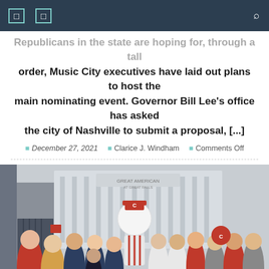Navigation bar with menu icons and search
Republicans in the state are hoping for, through a tall order, Music City executives have laid out plans to host the main nominating event. Governor Bill Lee's office has asked the city of Nashville to submit a proposal, [...]
December 27, 2021  |  Clarice J. Windham  |  Comments Off
[Figure (photo): Group photo of approximately 20 students posing outdoors in front of what appears to be Great American Ball Park. A large baseball mascot character is visible in the center of the group. Students are wearing casual clothing including red, navy, and grey outfits.]